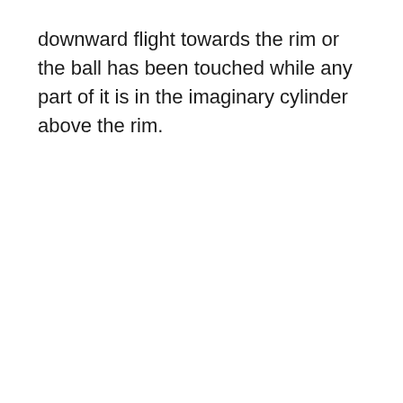downward flight towards the rim or the ball has been touched while any part of it is in the imaginary cylinder above the rim.